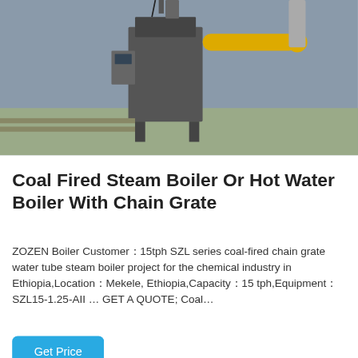[Figure (photo): Industrial boiler equipment with chain grate mechanism, pipes and machinery visible in a factory/outdoor setting]
Coal Fired Steam Boiler Or Hot Water Boiler With Chain Grate
ZOZEN Boiler Customer：15tph SZL series coal-fired chain grate water tube steam boiler project for the chemical industry in Ethiopia,Location：Mekele, Ethiopia,Capacity：15 tph,Equipment：SZL15-1.25-AII … GET A QUOTE; Coal…
Get Price
Hot News